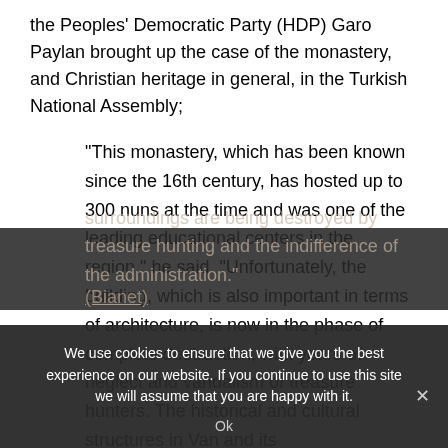the Peoples' Democratic Party (HDP) Garo Paylan brought up the case of the monastery, and Christian heritage in general, in the Turkish National Assembly;
“This monastery, which has been known since the 16th century, has hosted up to 300 nuns at the time and was one of the leading educational centers in the region,” he said. “Unfortunately, the building, which is also important in terms of architecture, is now in the phase of complete destruction, with years of neglect and vandalism of treasure hunters. The historical and cultural structures in Van and its surroundings are being destroyed by treasure hunting and the indifference of the administration.”
(Bianet)
We use cookies to ensure that we give you the best experience on our website. If you continue to use this site we will assume that you are happy with it.
Ok